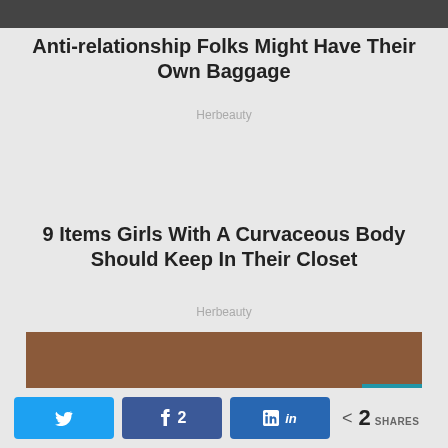[Figure (photo): Top cropped photo, dark/shadowed image]
Anti-relationship Folks Might Have Their Own Baggage
Herbeauty
9 Items Girls With A Curvaceous Body Should Keep In Their Closet
Herbeauty
[Figure (photo): Partial photo of people, brick wall background]
Twitter share button, Facebook 2 shares button, LinkedIn share button, < 2 SHARES